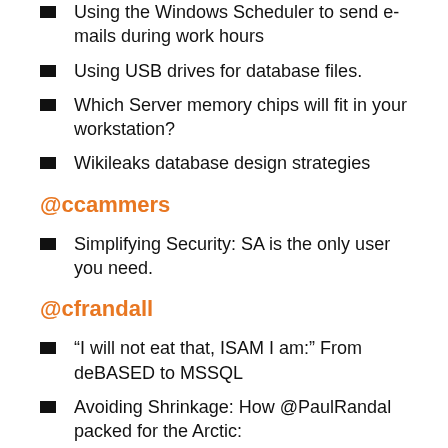Using the Windows Scheduler to send e-mails during work hours
Using USB drives for database files.
Which Server memory chips will fit in your workstation?
Wikileaks database design strategies
@ccammers
Simplifying Security: SA is the only user you need.
@cfrandall
“I will not eat that, ISAM I am:” From deBASED to MSSQL
Avoiding Shrinkage: How @PaulRandal packed for the Arctic:
Data Deliverance: “SQL like a pig!”